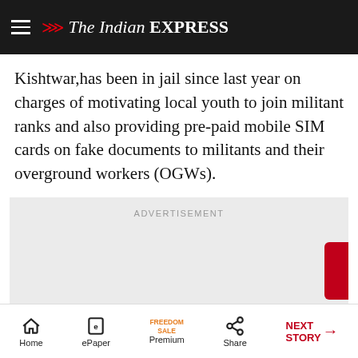The Indian EXPRESS
Kishtwar,has been in jail since last year on charges of motivating local youth to join militant ranks and also providing pre-paid mobile SIM cards on fake documents to militants and their overground workers (OGWs).
[Figure (other): Advertisement placeholder box with 'ADVERTISEMENT' label in grey area]
Home | ePaper | Premium | Share | NEXT STORY